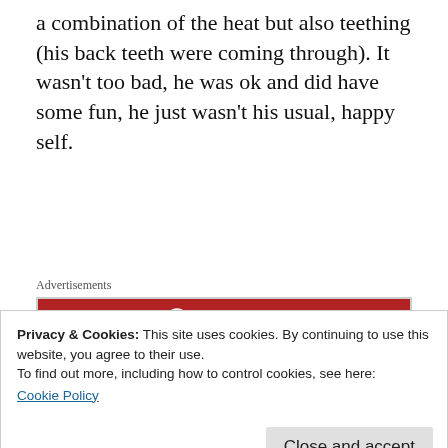a combination of the heat but also teething (his back teeth were coming through). It wasn't too bad, he was ok and did have some fun, he just wasn't his usual, happy self.
Advertisements
[Figure (logo): Longreads red advertisement banner with circular logo and LONGREADS text]
Within a day we'd fallen into a new routine, we all know how much babies/toddlers love a
Privacy & Cookies: This site uses cookies. By continuing to use this website, you agree to their use.
To find out more, including how to control cookies, see here:
Cookie Policy
for that in case you were hoping to do